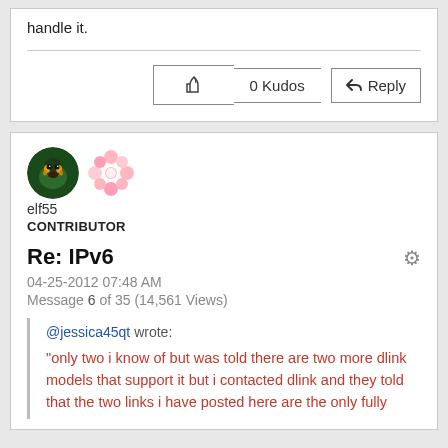handle it.
0 Kudos
[Figure (screenshot): User avatar for elf55 with flower decoration]
elf55
CONTRIBUTOR
Re: IPv6
04-25-2012 07:48 AM
Message 6 of 35 (14,561 Views)
@jessica45qt wrote: "only two i know of but was told there are two more dlink models that support it but i contacted dlink and they told that the two links i have posted here are the only fully